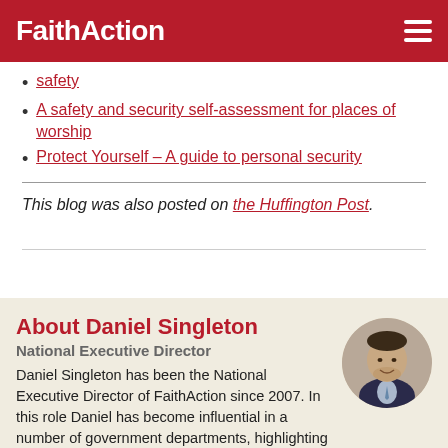FaithAction
safety
A safety and security self-assessment for places of worship
Protect Yourself – A guide to personal security
This blog was also posted on the Huffington Post.
About Daniel Singleton
National Executive Director
Daniel Singleton has been the National Executive Director of FaithAction since 2007. In this role Daniel has become influential in a number of government departments, highlighting the significant part that faith-based organisations are playing in